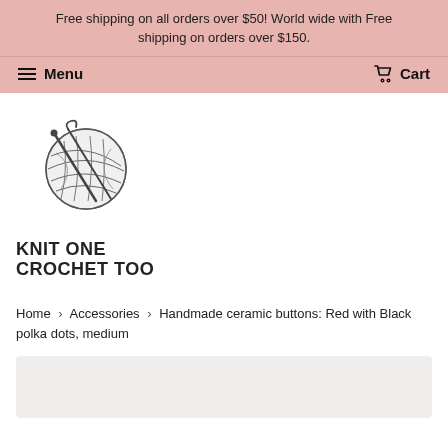Free shipping on all orders over $50! World wide with Free shipping on orders over $150.
Menu   Cart
[Figure (logo): Knit One Crochet Too logo: a ball of yarn with knitting needles and crochet hook, with text KNIT ONE CROCHET TOO below]
Home › Accessories › Handmade ceramic buttons: Red with Black polka dots, medium
[Figure (photo): Product image area, partially visible at bottom of page]